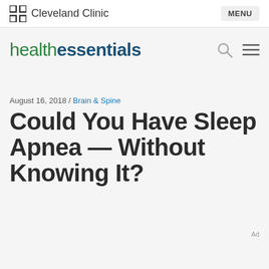Cleveland Clinic
[Figure (logo): Cleveland Clinic logo with bracket icon and 'health essentials' wordmark in green and dark blue]
August 16, 2018 / Brain & Spine
Could You Have Sleep Apnea — Without Knowing It?
Ad